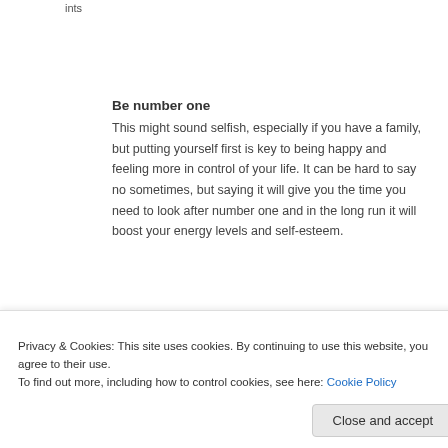ints
Be number one
This might sound selfish, especially if you have a family, but putting yourself first is key to being happy and feeling more in control of your life. It can be hard to say no sometimes, but saying it will give you the time you need to look after number one and in the long run it will boost your energy levels and self-esteem.
Keep alcohol down
Privacy & Cookies: This site uses cookies. By continuing to use this website, you agree to their use.
To find out more, including how to control cookies, see here: Cookie Policy
Close and accept